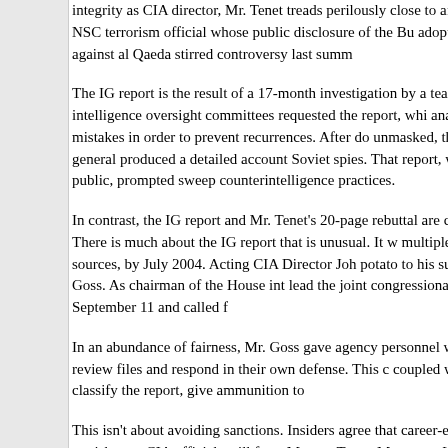integrity as CIA director, Mr. Tenet treads perilously close to affirming the former NSC terrorism official whose public disclosure of the Bu- adopting a strategy against al Qaeda stirred controversy last summ-
The IG report is the result of a 17-month investigation by a team of House intelligence oversight committees requested the report, whi- analyses of past mistakes in order to prevent recurrences. After do- unmasked, the CIA inspector general produced a detailed account Soviet spies. That report, which was made public, prompted sweep- counterintelligence practices.
In contrast, the IG report and Mr. Tenet's 20-page rebuttal are class CIA practice. There is much about the IG report that is unusual. It w- multiple intelligence sources, by July 2004. Acting CIA Director Joh- potato to his successor, Porter Goss. As chairman of the House int- lead the joint congressional inquiry into September 11 and called f-
In an abundance of fairness, Mr. Goss gave agency personnel who the IG time to review files and respond in their own defense. This c- coupled with the decision to classify the report, give ammunition to-
This isn't about avoiding sanctions. Insiders agree that career-endi- the most severe punishment CIA officials will face. Messrs. Tenet, M- agency. What is at stake for them is personal honor and their legac- 11.
In criticizing Mr. Tenet for lack of a strategy to fight al Qaeda, the IG September 11 failure. Mr. Tenet's defense inevitably leads to the se- the president and other senior officials in the summer of 2001.
In criticizing Mr. Tenet also the following, Mr. Tenet's rebuttal is a-